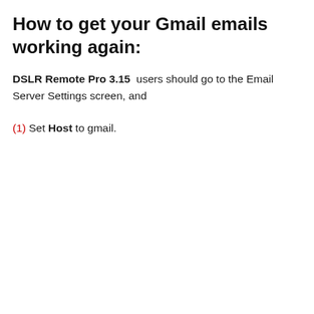How to get your Gmail emails working again:
DSLR Remote Pro 3.15  users should go to the Email Server Settings screen, and
(1) Set Host to gmail.